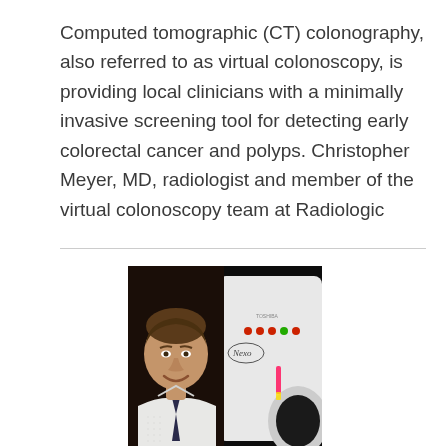Computed tomographic (CT) colonography, also referred to as virtual colonoscopy, is providing local clinicians with a minimally invasive screening tool for detecting early colorectal cancer and polyps. Christopher Meyer, MD, radiologist and member of the virtual colonoscopy team at Radiologic
[Figure (photo): A man in a white dress shirt and dark tie smiling in front of a Toshiba CT scanner (MRI/CT machine). The machine is white and large with colored indicator lights (red and green) and a pink/red laser light bar visible. The background is dark.]